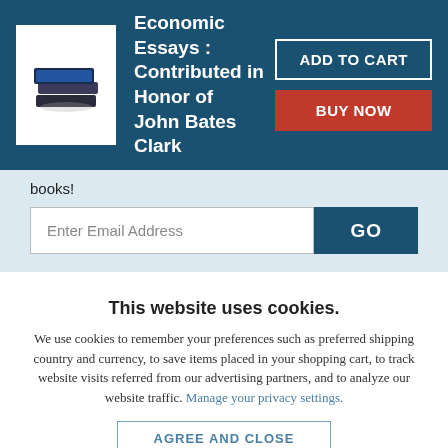Economic Essays : Contributed in Honor of John Bates Clark
books!
Enter Email Address
GO
This website uses cookies.
We use cookies to remember your preferences such as preferred shipping country and currency, to save items placed in your shopping cart, to track website visits referred from our advertising partners, and to analyze our website traffic. Manage your privacy settings.
AGREE AND CLOSE